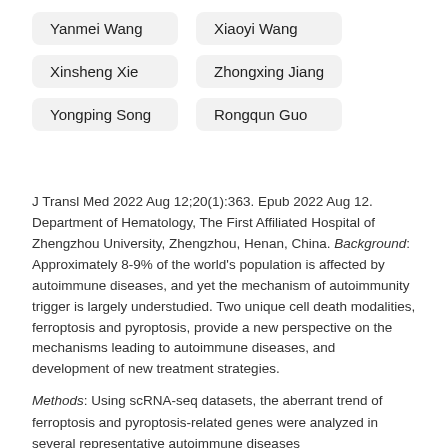Yanmei Wang
Xiaoyi Wang
Xinsheng Xie
Zhongxing Jiang
Yongping Song
Rongqun Guo
J Transl Med 2022 Aug 12;20(1):363. Epub 2022 Aug 12. Department of Hematology, The First Affiliated Hospital of Zhengzhou University, Zhengzhou, Henan, China. Background: Approximately 8-9% of the world's population is affected by autoimmune diseases, and yet the mechanism of autoimmunity trigger is largely understudied. Two unique cell death modalities, ferroptosis and pyroptosis, provide a new perspective on the mechanisms leading to autoimmune diseases, and development of new treatment strategies.
Methods: Using scRNA-seq datasets, the aberrant trend of ferroptosis and pyroptosis-related genes were analyzed in several representative autoimmune diseases